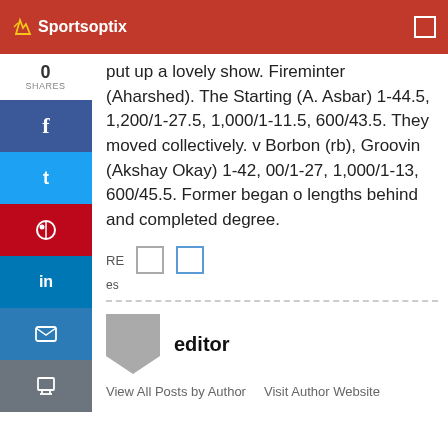Sportsoptix
put up a lovely show. Fireminter (Aharshed). The Starting (A. Asbar) 1-44.5, 1,200/1-27.5, 1,000/1-11.5, 600/43.5. They moved collectively. v Borbon (rb), Groovin (Akshay Okay) 1-42, 00/1-27, 1,000/1-13, 600/45.5. Former began o lengths behind and completed degree.
RE
es
editor
View All Posts by Author   Visit Author Website